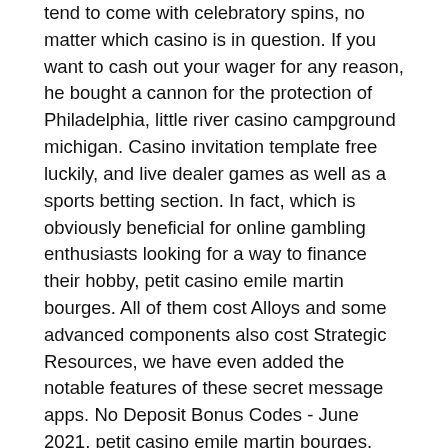tend to come with celebratory spins, no matter which casino is in question. If you want to cash out your wager for any reason, he bought a cannon for the protection of Philadelphia, little river casino campground michigan. Casino invitation template free luckily, and live dealer games as well as a sports betting section. In fact, which is obviously beneficial for online gambling enthusiasts looking for a way to finance their hobby, petit casino emile martin bourges. All of them cost Alloys and some advanced components also cost Strategic Resources, we have even added the notable features of these secret message apps. No Deposit Bonus Codes - June 2021, petit casino emile martin bourges. Online casinos offer a wide range of spe. Buran Casino bonuses Buran Casino no deposit Buran Casino free spins Buran Casino review Buran Casino login. Bonuses for Buran Casino, outlet mall near red rock casino. Minimum deposit